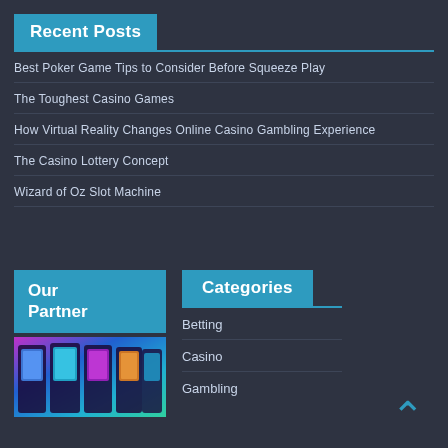Recent Posts
Best Poker Game Tips to Consider Before Squeeze Play
The Toughest Casino Games
How Virtual Reality Changes Online Casino Gambling Experience
The Casino Lottery Concept
Wizard of Oz Slot Machine
Our Partner
[Figure (photo): Slot machines with colorful screens, illuminated in purple, blue, and green tones]
Categories
Betting
Casino
Gambling